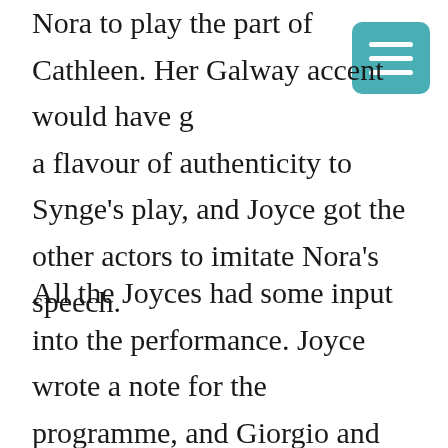Nora to play the part of Cathleen. Her Galway accent would have g[iven] a flavour of authenticity to Synge's play, and Joyce got the other actors to imitate Nora's speech.

All the Joyces had some input into the performance. Joyce wrote a note for the programme, and Giorgio and Lucia appeared as children in a crowd scene. The production was another success for the English